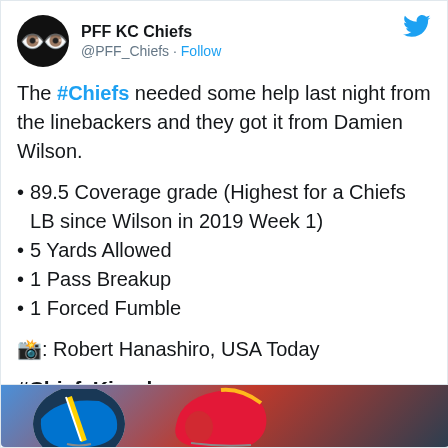PFF KC Chiefs @PFF_Chiefs · Follow
The #Chiefs needed some help last night from the linebackers and they got it from Damien Wilson.
89.5 Coverage grade (Highest for a Chiefs LB since Wilson in 2019 Week 1)
5 Yards Allowed
1 Pass Breakup
1 Forced Fumble
📸: Robert Hanashiro, USA Today
#ChiefsKingdom
[Figure (photo): Photo of football helmets, including Chargers and Chiefs helmets, cropped at bottom of tweet]